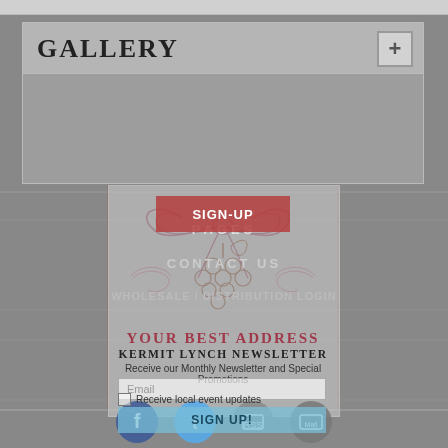GALLERY
[Figure (illustration): Decorative grape cluster with bow ribbon illustration, line art style in muted rose/mauve color]
YOUR BEST ADDRESS
KERMIT LYNCH NEWSLETTER
Receive our Monthly Newsletter and Special Promotions
Email
Receive local event updates
SIGN UP!
SIGN-UP
PAGES
CONTACT US
WHOLESALE / DISTRIBUTION LOGIN
[Figure (illustration): Social media icons row at bottom: Facebook, Twitter, RSS, Mail/YouTube]